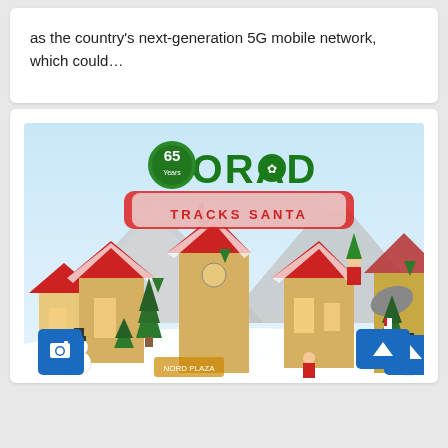as the country's next-generation 5G mobile network, which could…
[Figure (illustration): NORAD Tracks Santa promotional image showing a winter village scene with snow-covered toy-like buildings with red roofs, candy-cane striped poles, green Christmas trees, snowmen, and an elf character. The NORAD Tracks Santa logo is displayed prominently at the top with '65 Years' badge. Blue camera icon button visible at bottom-left and a blue scroll-up arrow button at bottom-right.]